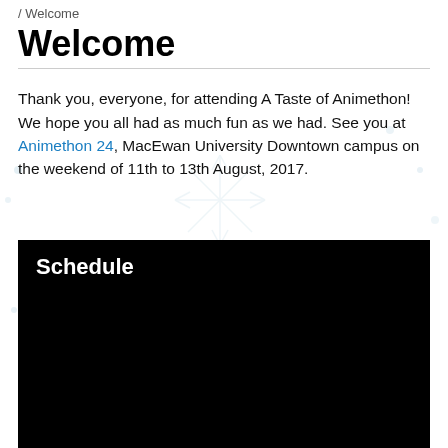/ Welcome
Welcome
Thank you, everyone, for attending A Taste of Animethon! We hope you all had as much fun as we had. See you at Animethon 24, MacEwan University Downtown campus on the weekend of 11th to 13th August, 2017.
[Figure (other): Black rectangle containing the Schedule section heading in white bold text, representing an embedded schedule widget or image]